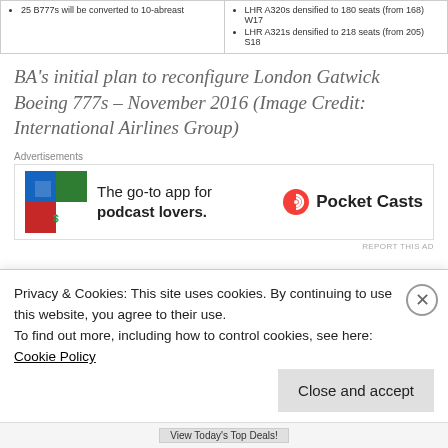[Figure (screenshot): Top strip with two columns of bullet points about Boeing 777 and Airbus A320/A321 seat reconfiguration details]
BA's initial plan to reconfigure London Gatwick Boeing 777s – November 2016 (Image Credit: International Airlines Group)
[Figure (screenshot): Pocket Casts advertisement: 'The go-to app for podcast lovers.' with Pocket Casts logo]
Initially, up to 25 Boeing 777s will be
Privacy & Cookies: This site uses cookies. By continuing to use this website, you agree to their use.
To find out more, including how to control cookies, see here: Cookie Policy
Close and accept